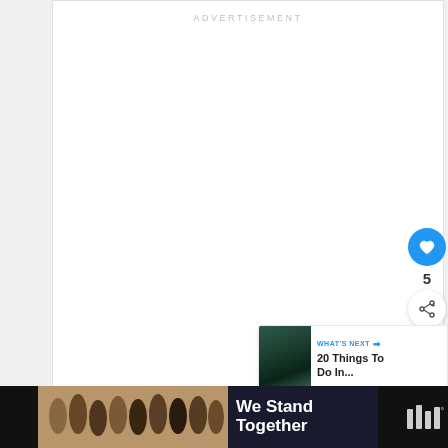ADVERTISEMENT
[Figure (other): White advertisement placeholder area]
[Figure (other): Like button (heart icon) in blue circle with count 5 and share button below]
[Figure (other): What's Next widget showing '20 Things To Do In...' with forest/water thumbnail]
[Figure (other): Bottom advertisement banner showing 'We Stand Together' with people image and close button, alongside site logo]